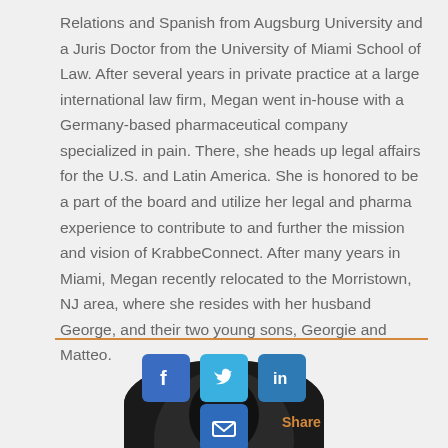Relations and Spanish from Augsburg University and a Juris Doctor from the University of Miami School of Law. After several years in private practice at a large international law firm, Megan went in-house with a Germany-based pharmaceutical company specialized in pain. There, she heads up legal affairs for the U.S. and Latin America. She is honored to be a part of the board and utilize her legal and pharma experience to contribute to and further the mission and vision of KrabbeConnect. After many years in Miami, Megan recently relocated to the Morristown, NJ area, where she resides with her husband George, and their two young sons, Georgie and Matteo.
[Figure (infographic): Orange horizontal divider line above a circular portrait photo of a person with dark hair, overlaid with social media icon buttons (Facebook, Twitter, LinkedIn, Email) and a 'Share' label in orange.]